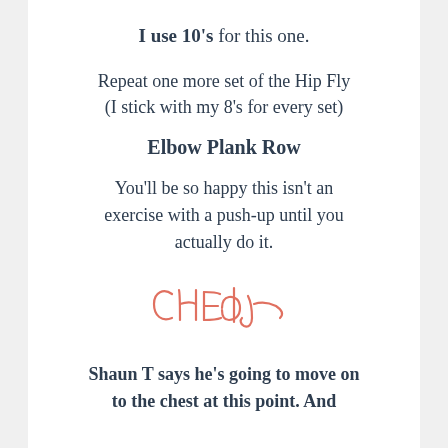I use 10's for this one.
Repeat one more set of the Hip Fly (I stick with my 8's for every set)
Elbow Plank Row
You'll be so happy this isn't an exercise with a push-up until you actually do it.
[Figure (illustration): Handwritten cursive signature in salmon/coral color reading CHEdJ or similar stylized initials]
Shaun T says he's going to move on to the chest at this point.  And